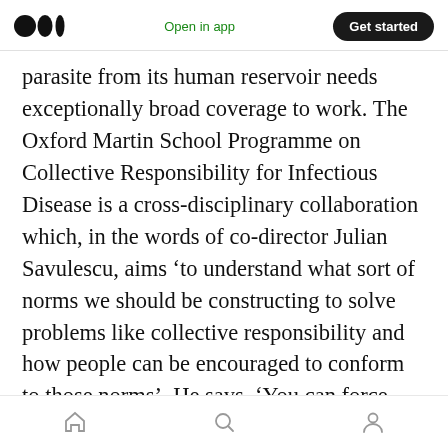Medium logo | Open in app | Get started
parasite from its human reservoir needs exceptionally broad coverage to work. The Oxford Martin School Programme on Collective Responsibility for Infectious Disease is a cross-disciplinary collaboration which, in the words of co-director Julian Savulescu, aims ‘to understand what sort of norms we should be constructing to solve problems like collective responsibility and how people can be encouraged to conform to those norms’. He says, ‘You can force people to take antimalarials, or you can use incentives, or you can appeal to their rational nature. You need ethics to evaluate which of these are permissible’
Home | Search | Profile